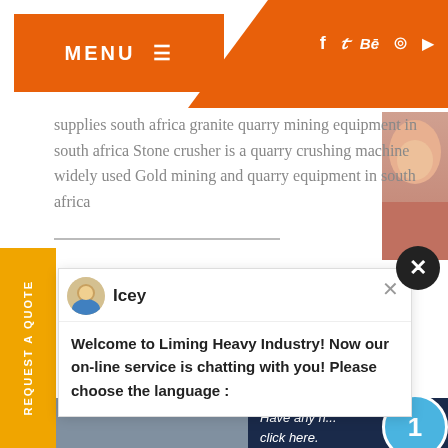MENU
supplies south africa granite quarry mining equipment in south africa Stone crusher is a quarry crushing machine widely used Gold mining and quarry equipment in south africa
[Figure (screenshot): Chat popup from Liming Heavy Industry website with avatar of agent named Icey]
Welcome to Liming Heavy Industry! Now our on-line service is chatting with you! Please choose the language :
[Figure (photo): Industrial mining/crushing equipment with conveyor belt and large cylindrical grinder, power lines in background]
Have any n... click here.
Quota
Enquiry
drobilkalm